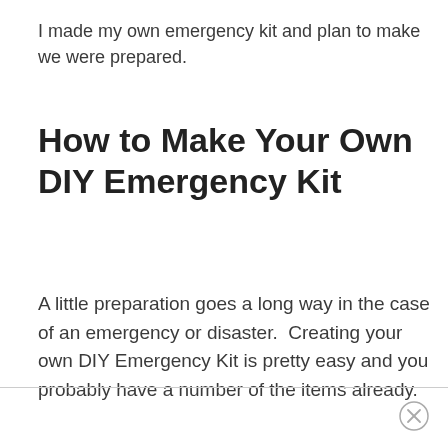I made my own emergency kit and plan to make we were prepared.
How to Make Your Own DIY Emergency Kit
A little preparation goes a long way in the case of an emergency or disaster.  Creating your own DIY Emergency Kit is pretty easy and you probably have a number of the items already.